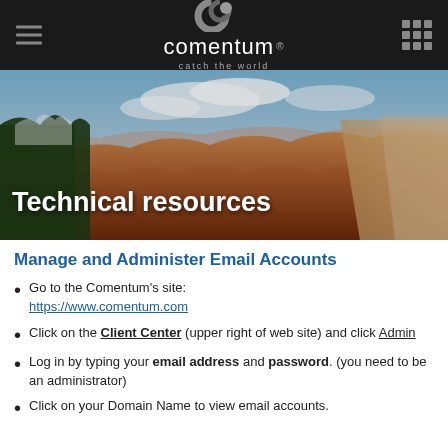[Figure (logo): Comentum logo with tagline 'catch the world' on dark navigation bar]
[Figure (photo): Grand Canyon landscape panorama with snow-covered trees on left, blue sky with clouds, layered red and orange canyon walls. Title 'Technical resources' overlaid in white bold text.]
Manage and Administer Email Accounts
Go to the Comentum's site: https://www.comentum.com
Click on the Client Center (upper right of web site) and click Admin
Log in by typing your email address and password. (you need to be an administrator)
Click on your Domain Name to view email accounts.